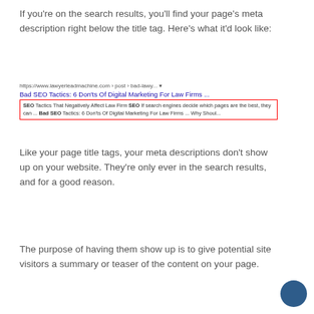If you're on the search results, you'll find your page's meta description right below the title tag. Here's what it'd look like:
[Figure (screenshot): Google search result snippet showing URL 'https://www.lawyerleadmachine.com › post › bad-lawy... ▾', title 'Bad SEO Tactics: 6 Don'ts Of Digital Marketing For Law Firms ...', and meta description highlighted with red border: 'SEO Tactics That Negatively Affect Law Firm SEO If search engines decide which pages are the best, they can ... Bad SEO Tactics: 6 Don'ts Of Digital Marketing For Law Firms ... Why Shoul...']
Like your page title tags, your meta descriptions don't show up on your website. They're only ever in the search results, and for a good reason.
The purpose of having them show up is to give potential site visitors a summary or teaser of the content on your page.